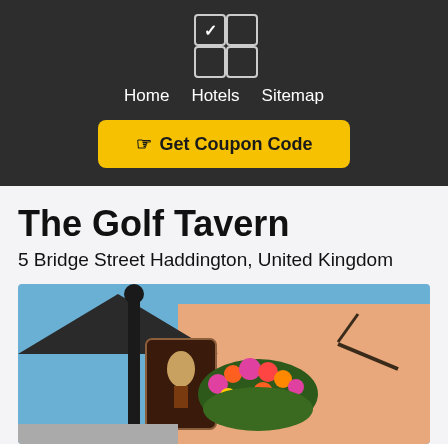[Figure (logo): 2x2 icon grid with top-left cell checked]
Home   Hotels   Sitemap
Get Coupon Code
The Golf Tavern
5 Bridge Street Haddington, United Kingdom
[Figure (photo): Exterior photo of The Golf Tavern pub showing a colorful hanging basket with flowers, an ornate pub sign, and a peach-colored building facade against a blue sky]